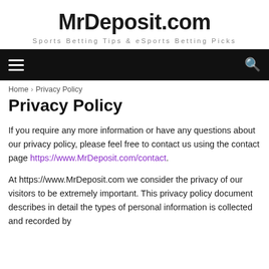MrDeposit.com
Sports Betting Tips & eSports Betting Picks
Navigation bar with hamburger menu and search icon
Home › Privacy Policy
Privacy Policy
If you require any more information or have any questions about our privacy policy, please feel free to contact us using the contact page https://www.MrDeposit.com/contact.
At https://www.MrDeposit.com we consider the privacy of our visitors to be extremely important. This privacy policy document describes in detail the types of personal information is collected and recorded by